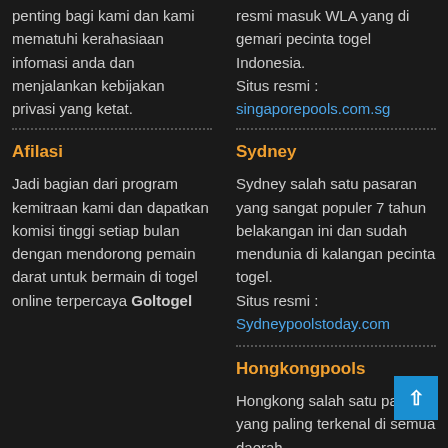penting bagi kami dan kami mematuhi kerahasiaan infomasi anda dan menjalankan kebijakan privasi yang ketat.
resmi masuk WLA yang di gemari pecinta togel Indonesia.
Situs resmi :
singaporepools.com.sg
Afilasi
Jadi bagian dari program kemitraan kami dan dapatkan komisi tinggi setiap bulan dengan mendorong pemain darat untuk bermain di togel online terpercaya Goltogel
Sydney
Sydney salah satu pasaran yang sangat populer 7 tahun belakangan ini dan sudah mendunia di kalangan pecinta togel.
Situs resmi :
Sydneypoolstoday.com
Hongkongpools
Hongkong salah satu pasaran yang paling terkenal di semua daerah